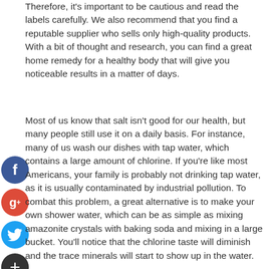Therefore, it's important to be cautious and read the labels carefully. We also recommend that you find a reputable supplier who sells only high-quality products. With a bit of thought and research, you can find a great home remedy for a healthy body that will give you noticeable results in a matter of days.
Most of us know that salt isn't good for our health, but many people still use it on a daily basis. For instance, many of us wash our dishes with tap water, which contains a large amount of chlorine. If you're like most Americans, your family is probably not drinking tap water, as it is usually contaminated by industrial pollution. To combat this problem, a great alternative is to make your own shower water, which can be as simple as mixing amazonite crystals with baking soda and mixing in a large bucket. You'll notice that the chlorine taste will diminish and the trace minerals will start to show up in the water.